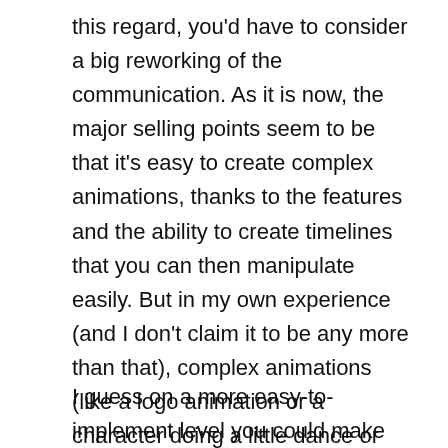this regard, you'd have to consider a big reworking of the communication. As it is now, the major selling points seem to be that it's easy to create complex animations, thanks to the features and the ability to create timelines that you can then manipulate easily. But in my own experience (and I don't claim it to be any more than that), complex animations (like a logo animation or a character doing a little dance or whatever) is a tiny percentage of what I'm using GSAP for; I'm more interested in moving around parts of the web page, adapting to user inputs on the fly, creating interactive content etc.
I guess on a more easy-to-implement level you could make sure to present TweenLite as not only